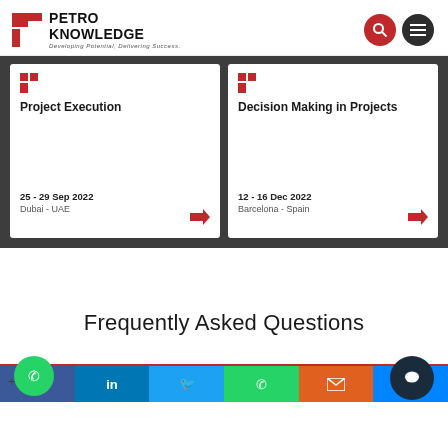[Figure (logo): Petro Knowledge logo with red P icon and tagline 'Developing Potential, Delivering Success.']
Project Execution
25 - 29 Sep 2022
Dubai - UAE
Decision Making in Projects
12 - 16 Dec 2022
Barcelona - Spain
Frequently Asked Questions
[Figure (screenshot): Bottom social sharing bar with Facebook, LinkedIn, Twitter, WhatsApp, Email, Messenger buttons; WhatsApp floating button on left; dark chat button on right]